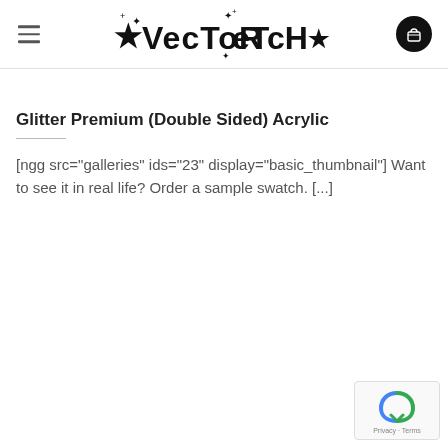Vector Etch
Glitter Premium (Double Sided) Acrylic
[ngg src="galleries" ids="23" display="basic_thumbnail"] Want to see it in real life? Order a sample swatch. [...]